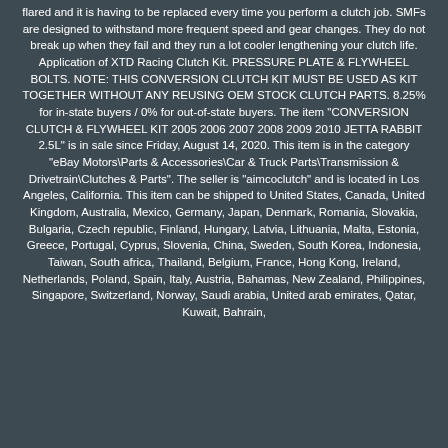flared and it is having to be replaced every time you perform a clutch job. SMFs are designed to withstand more frequent speed and gear changes. They do not break up when they fail and they run a lot cooler lengthening your clutch life. Application of XTD Racing Clutch Kit. PRESSURE PLATE & FLYWHEEL BOLTS. NOTE: THIS CONVERSION CLUTCH KIT MUST BE USED AS KIT TOGETHER WITHOUT ANY REUSING OEM STOCK CLUTCH PARTS. 8.25% for in-state buyers / 0% for out-of-state buyers. The item "CONVERSION CLUTCH & FLYWHEEL KIT 2005 2006 2007 2008 2009 2010 JETTA RABBIT 2.5L" is in sale since Friday, August 14, 2020. This item is in the category "eBay Motors\Parts & Accessories\Car & Truck Parts\Transmission & Drivetrain\Clutches & Parts". The seller is "aimcoclutch" and is located in Los Angeles, California. This item can be shipped to United States, Canada, United Kingdom, Australia, Mexico, Germany, Japan, Denmark, Romania, Slovakia, Bulgaria, Czech republic, Finland, Hungary, Latvia, Lithuania, Malta, Estonia, Greece, Portugal, Cyprus, Slovenia, China, Sweden, South Korea, Indonesia, Taiwan, South africa, Thailand, Belgium, France, Hong Kong, Ireland, Netherlands, Poland, Spain, Italy, Austria, Bahamas, New Zealand, Philippines, Singapore, Switzerland, Norway, Saudi arabia, United arab emirates, Qatar, Kuwait, Bahrain,